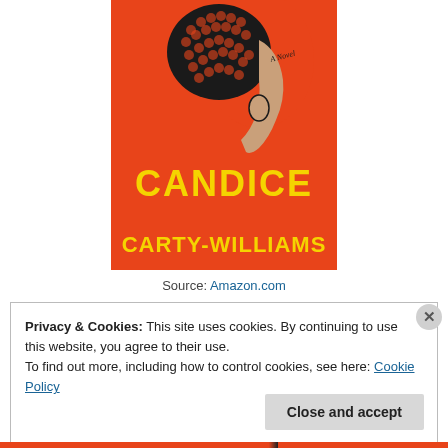[Figure (illustration): Book cover on orange background showing a woman's profile with braided hair from behind, with 'A Novel' text, and author name 'CANDICE CARTY-WILLIAMS' in bold yellow letters]
Source: Amazon.com
Privacy & Cookies: This site uses cookies. By continuing to use this website, you agree to their use.
To find out more, including how to control cookies, see here: Cookie Policy
Close and accept